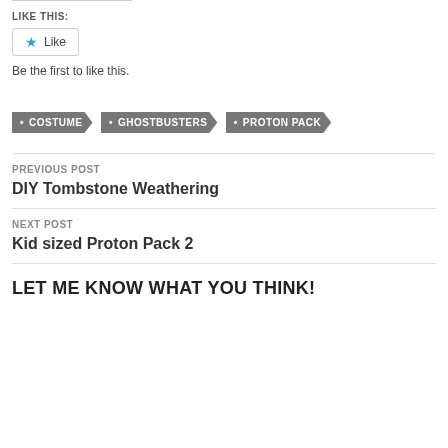LIKE THIS:
[Figure (other): Like button with star icon and 'Like' text, bordered button]
Be the first to like this.
COSTUME
GHOSTBUSTERS
PROTON PACK
PREVIOUS POST
DIY Tombstone Weathering
NEXT POST
Kid sized Proton Pack 2
LET ME KNOW WHAT YOU THINK!